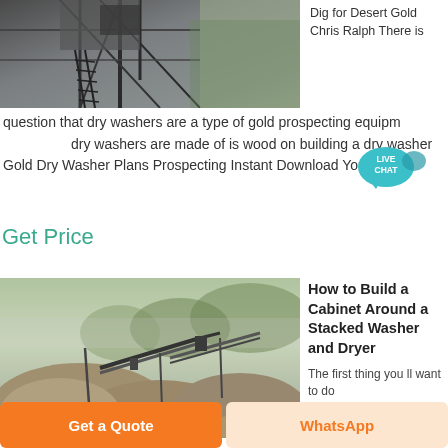[Figure (photo): Industrial steel structure/mining equipment photo at top left]
Dig for Desert Gold Chris Ralph There is
question that dry washers are a type of gold prospecting equipment dry washers are made of is wood on building a dry washer Gold Dry Washer Plans Prospecting Instant Download YouTube
Get Price
[Figure (photo): Quarry/aggregate mining site with large piles of gravel and conveyor equipment]
How to Build a Cabinet Around a Stacked Washer and Dryer
The first thing you ll want to do
Get a Quote
WhatsApp